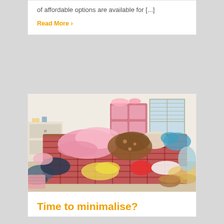of affordable options are available for [...]
Read More ›
[Figure (photo): A very messy bedroom with a plaid-covered bed piled high with colorful clothing and garments. The floor around the bed is also covered with scattered clothes, toys, and various items. A pink dresser and white nightstand are visible in the background near a window with blinds.]
Time to minimalise?